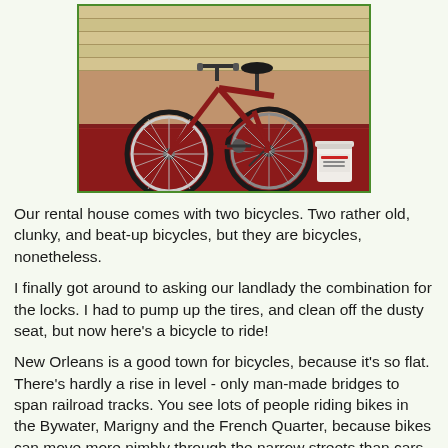[Figure (photo): A red cruiser bicycle leaning against a red painted surface/porch, with white-walled tires. A white bucket is visible to the right. Background shows a yellow/tan building wall.]
Our rental house comes with two bicycles. Two rather old, clunky, and beat-up bicycles, but they are bicycles, nonetheless.
I finally got around to asking our landlady the combination for the locks. I had to pump up the tires, and clean off the dusty seat, but now here's a bicycle to ride!
New Orleans is a good town for bicycles, because it's so flat. There's hardly a rise in level - only man-made bridges to span railroad tracks. You see lots of people riding bikes in the Bywater, Marigny and the French Quarter, because bikes can move more nimbly through the narrow streets than cars